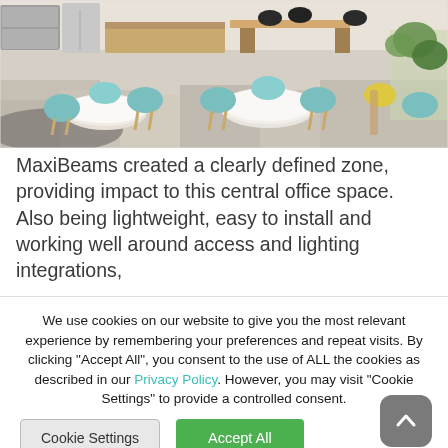[Figure (photo): Interior office space with round and rectangular tables, teal/mint colored chairs with wooden legs, light-colored patterned flooring, kitchen area in background, plants on the right side]
MaxiBeams created a clearly defined zone, providing impact to this central office space. Also being lightweight, easy to install and working well around access and lighting integrations,
We use cookies on our website to give you the most relevant experience by remembering your preferences and repeat visits. By clicking "Accept All", you consent to the use of ALL the cookies as described in our Privacy Policy. However, you may visit "Cookie Settings" to provide a controlled consent.
Cookie Settings
Accept All